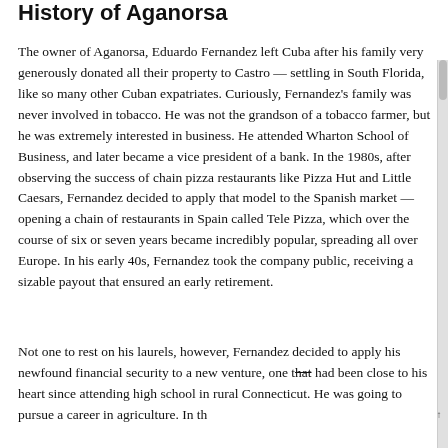History of Aganorsa
The owner of Aganorsa, Eduardo Fernandez left Cuba after his family very generously donated all their property to Castro — settling in South Florida, like so many other Cuban expatriates. Curiously, Fernandez's family was never involved in tobacco. He was not the grandson of a tobacco farmer, but he was extremely interested in business. He attended Wharton School of Business, and later became a vice president of a bank. In the 1980s, after observing the success of chain pizza restaurants like Pizza Hut and Little Caesars, Fernandez decided to apply that model to the Spanish market — opening a chain of restaurants in Spain called Tele Pizza, which over the course of six or seven years became incredibly popular, spreading all over Europe. In his early 40s, Fernandez took the company public, receiving a sizable payout that ensured an early retirement.
Not one to rest on his laurels, however, Fernandez decided to apply his newfound financial security to a new venture, one that had been close to his heart since attending high school in rural Connecticut. He was going to pursue a career in agriculture. In th